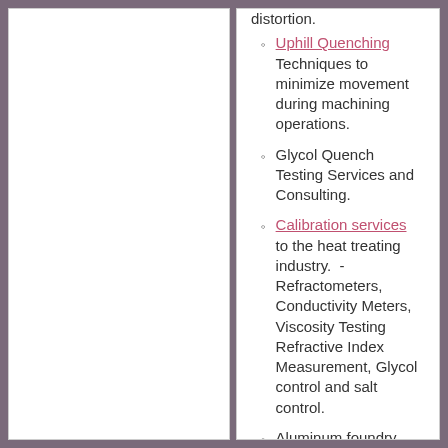distortion.
Uphill Quenching Techniques to minimize movement during machining operations.
Glycol Quench Testing Services and Consulting.
Calibration services to the heat treating industry.  -  Refractometers, Conductivity Meters, Viscosity Testing Refractive Index Measurement, Glycol control and salt control.
Aluminum foundry problems, particularly in High Strength Premium Castings.